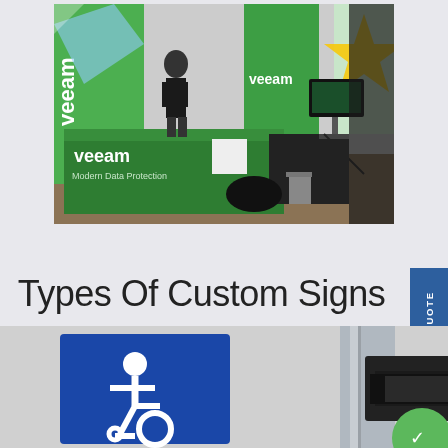[Figure (photo): Trade show booth with Veeam branding — green tablecloth with 'veeam Modern Data Protection' text, green pull-up banners with 'veeam' branding, a person standing at the booth, a monitor on a stand, and a yellow star-shaped '#1' display in the background.]
Types Of Custom Signs
[Figure (photo): Close-up of custom signs including a blue wheelchair accessibility sign and a dark arrow directional sign on a metallic background, with a green circle partially visible at bottom right.]